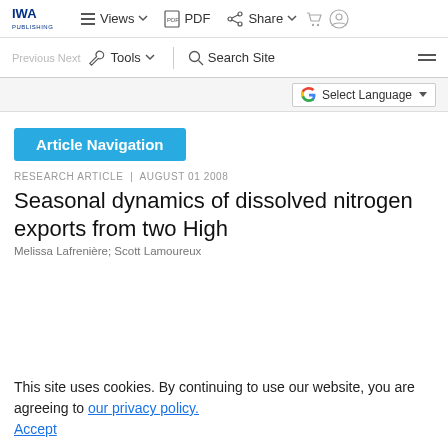IWA Publishing | Views | PDF | Share
Tools | Search Site
Select Language
Article Navigation
RESEARCH ARTICLE | AUGUST 01 2008
Seasonal dynamics of dissolved nitrogen exports from two High
This site uses cookies. By continuing to use our website, you are agreeing to our privacy policy. Accept
Melissa Lafrenière; Scott Lamoureux